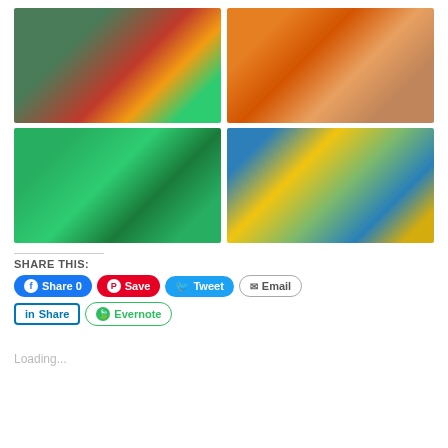[Figure (photo): Asparagus with tomatoes, corn, and mixed toppings in a glass baking dish]
[Figure (photo): Pile of fresh whole carrots]
[Figure (photo): Pile of fresh green beans]
[Figure (photo): Plate with pasta/flatbread and shredded kale salad on blue patterned cloth]
SHARE THIS:
Share 0  Save  Tweet  Email  Share  Evernote
Loading...